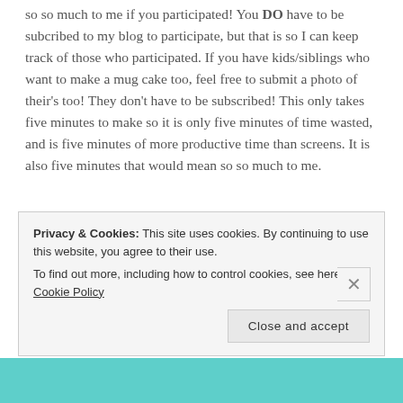so so much to me if you participated! You DO have to be subcribed to my blog to participate, but that is so I can keep track of those who participated. If you have kids/siblings who want to make a mug cake too, feel free to submit a photo of their's too! They don't have to be subscribed! This only takes five minutes to make so it is only five minutes of time wasted, and is five minutes of more productive time than screens. It is also five minutes that would mean so so much to me.
Privacy & Cookies: This site uses cookies. By continuing to use this website, you agree to their use. To find out more, including how to control cookies, see here: Cookie Policy